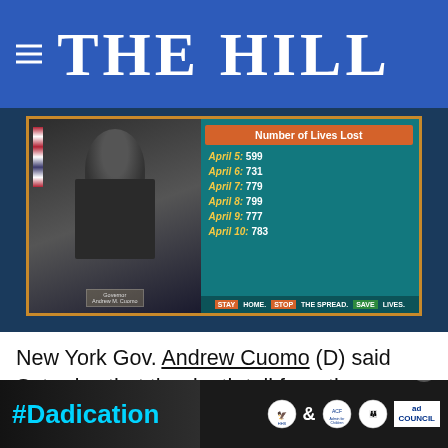THE HILL
[Figure (screenshot): Screenshot of NY Governor Andrew Cuomo press briefing showing 'Number of Lives Lost' data: April 5: 599, April 6: 731, April 7: 779, April 8: 799, April 9: 777, April 10: 783. Bottom bar reads: STAY HOME. STOP THE SPREAD. SAVE LIVES.]
New York Gov. Andrew Cuomo (D) said Saturday that the death toll from the coronavirus outbreak in his state is stabilizing, but at a "horrific rate," while the hospitalization rate i...
[Figure (photo): Advertisement overlay showing '#Dadication' text in cyan, HHS/ACF logos, and Ad Council logo]